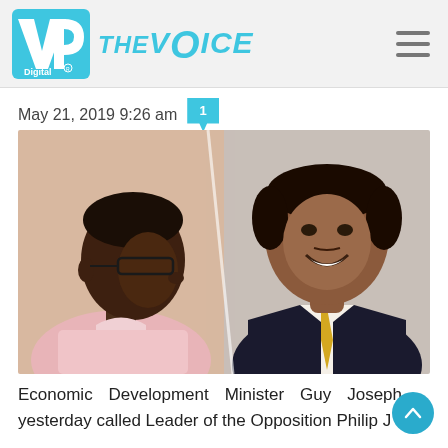VP Digital | THE VOICE
May 21, 2019 9:26 am  1
[Figure (photo): Two men side by side: on the left, a Black man in a pink shirt wearing glasses shown in profile; on the right, a South Asian man in a dark suit with a yellow tie, smiling at camera.]
Economic Development Minister Guy Joseph yesterday called Leader of the Opposition Philip J